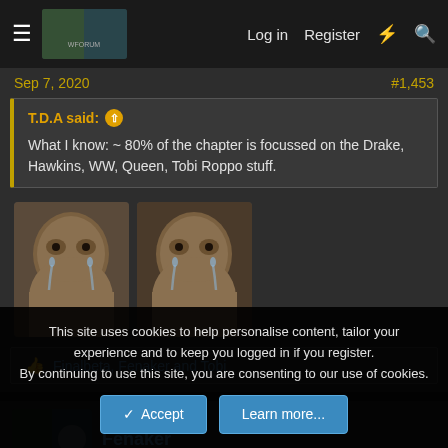Log in  Register
Sep 7, 2020    #1,453
T.D.A said: ↑
What I know: ~ 80% of the chapter is focussed on the Drake, Hawkins, WW, Queen, Tobi Roppo stuff.
[Figure (photo): Two crying Michael Jordan meme face images side by side]
Finalbeta, Fenaker and Tobi
Fenaker
This site uses cookies to help personalise content, tailor your experience and to keep you logged in if you register.
By continuing to use this site, you are consenting to our use of cookies.